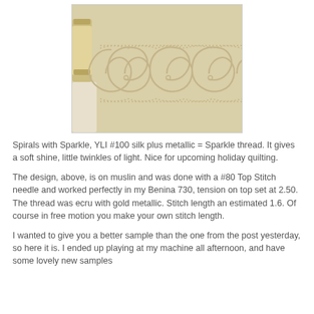[Figure (photo): Close-up photo of muslin fabric with a quilted spiral/swirl border pattern stitched in ecru and gold metallic thread, shown with a thread spool visible on the left side.]
Spirals with Sparkle, YLI #100 silk plus metallic = Sparkle thread. It gives a soft shine, little twinkles of light. Nice for upcoming holiday quilting.
The design, above, is on muslin and was done with a #80 Top Stitch needle and worked perfectly in my Benina 730, tension on top set at 2.50. The thread was ecru with gold metallic. Stitch length an estimated 1.6. Of course in free motion you make your own stitch length.
I wanted to give you a better sample than the one from the post yesterday, so here it is. I ended up playing at my machine all afternoon, and have some lovely new samples